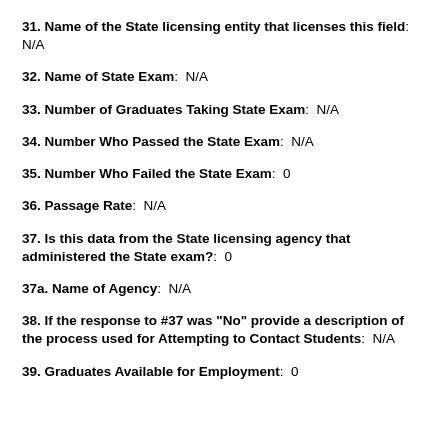31. Name of the State licensing entity that licenses this field: N/A
32. Name of State Exam: N/A
33. Number of Graduates Taking State Exam: N/A
34. Number Who Passed the State Exam: N/A
35. Number Who Failed the State Exam: 0
36. Passage Rate: N/A
37. Is this data from the State licensing agency that administered the State exam?: 0
37a. Name of Agency: N/A
38. If the response to #37 was "No" provide a description of the process used for Attempting to Contact Students: N/A
39. Graduates Available for Employment: 0